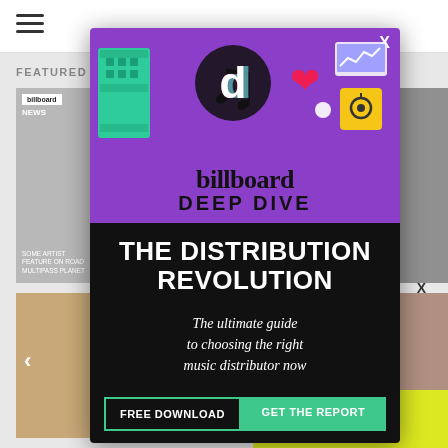[Figure (screenshot): Website background showing Billboard news page with article thumbnails, navigation arrows, and header]
[Figure (infographic): Billboard Deep Dive promotional modal ad overlay. Purple top section with social media icons illustration, 'billboard DEEP DIVE' logo. Black bottom section with headline 'THE DISTRIBUTION REVOLUTION', subtitle 'The ultimate guide to choosing the right music distributor now', two buttons: 'FREE DOWNLOAD' and 'GET THE REPORT', and 'NOW JUST $79' text in green.]